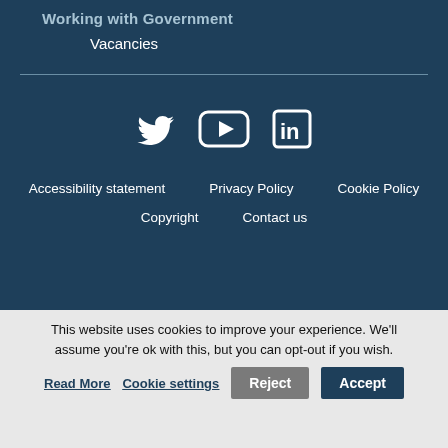Working with Government
Vacancies
[Figure (illustration): Social media icons: Twitter bird icon, YouTube play button icon, LinkedIn 'in' icon — all white on dark blue background]
Accessibility statement   Privacy Policy   Cookie Policy
Copyright   Contact us
This website uses cookies to improve your experience. We'll assume you're ok with this, but you can opt-out if you wish.
Read More   Cookie settings   Reject   Accept